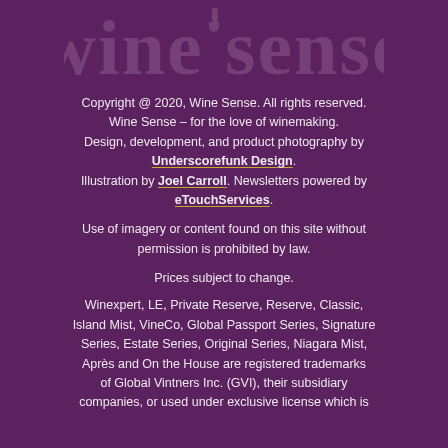[Figure (logo): Wine Sense logo in muted purple/grey tones on dark purple background]
Copyright @ 2020, Wine Sense. All rights reserved.
Wine Sense – for the love of winemaking.
Design, development, and product photography by
Underscorefunk Design.
Illustration by Joel Carroll. Newsletters powered by
eTouchServices.
Use of imagery or content found on this site without permission is prohibited by law.
Prices subject to change.
Winexpert, LE, Private Reserve, Reserve, Classic, Island Mist, VineCo, Global Passport Series, Signature Series, Estate Series, Original Series, Niagara Mist, Après and On the House are registered trademarks of Global Vintners Inc. (GVI), their subsidiary companies, or used under exclusive license which is